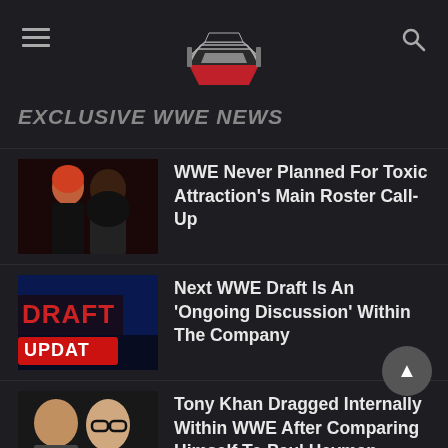[Figure (logo): Wrestling news website logo: a wrestling ring graphic in red and black with ropes, centered in the header]
EXCLUSIVE WWE NEWS
WWE Never Planned For Toxic Attraction’s Main Roster Call-Up
Next WWE Draft Is An ‘Ongoing Discussion’ Within The Company
Tony Khan Dragged Internally Within WWE After Comparing Himself To Paul Heyman
WWE Has Not Internally Confirmed...